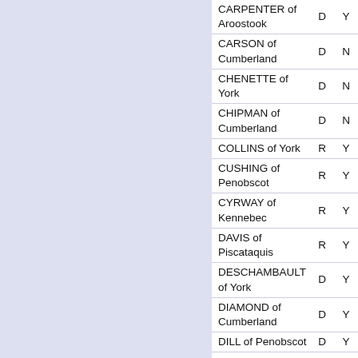| Name | Party | Vote |
| --- | --- | --- |
| CARPENTER of Aroostook | D | Y |
| CARSON of Cumberland | D | N |
| CHENETTE of York | D | N |
| CHIPMAN of Cumberland | D | N |
| COLLINS of York | R | Y |
| CUSHING of Penobscot | R | Y |
| CYRWAY of Kennebec | R | Y |
| DAVIS of Piscataquis | R | Y |
| DESCHAMBAULT of York | D | Y |
| DIAMOND of Cumberland | D | Y |
| DILL of Penobscot | D | Y |
| DION of Cumberland | D | N |
| DOW of Lincoln | R | Y |
| GRATWICK of Penobscot | D | Y |
| HAMPER of Oxford | R | Y |
| HILL of York | D | Y |
| JACKSON of Aroostook | D | N |
| KATZ of Kennebec | R | Y |
| KEIM of Oxford | R | E |
| LANGLEY of Hancock | R | Y |
| LIBBY of Androscoggin | D | Y |